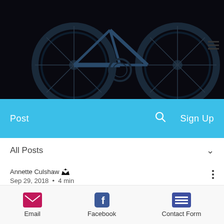[Figure (photo): Close-up photograph of a dark/black road bicycle against a black background, showing wheels, spokes, frame details, and drivetrain components]
Post   🔍   Sign Up
All Posts ∨
Annette Culshaw 👑
Sep 29, 2018  •  4 min
Lejog: We'll take the high road...
Updated: Jan 6, 2020
Email   Facebook   Contact Form